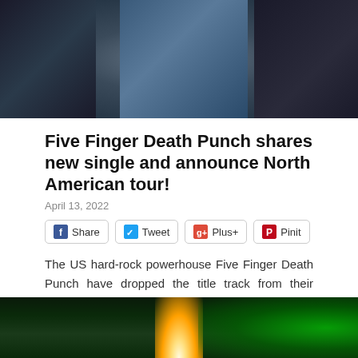[Figure (photo): Five Finger Death Punch band members in dark clothing, posing together. Left figure in dark leather jacket, center figure in colorful teal/blue suit with red tie, right figure with tattoos visible.]
Five Finger Death Punch shares new single and announce North American tour!
April 13, 2022
Share  Tweet  Plus+  Pinit
The US hard-rock powerhouse Five Finger Death Punch have dropped the title track from their highly anticipated forthcoming (yet untitled), studio album, Afterlife. The band also announce the North…
[Figure (photo): Concert crowd photo with green stage lighting. A bright white light beam visible on stage, crowd illuminated in green light.]